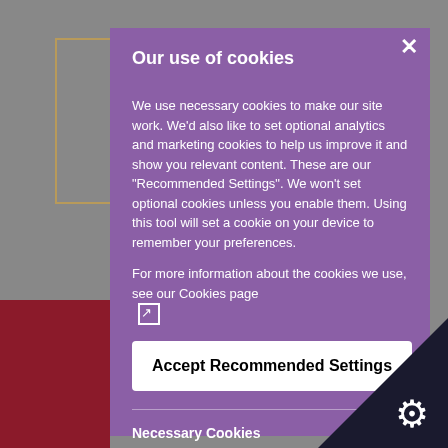Our use of cookies
We use necessary cookies to make our site work. We'd also like to set optional analytics and marketing cookies to help us improve it and show you relevant content. These are our "Recommended Settings". We won't set optional cookies unless you enable them. Using this tool will set a cookie on your device to remember your preferences.
For more information about the cookies we use, see our Cookies page
Accept Recommended Settings
Necessary Cookies
Necessary cookies enable core functionality such as security, network management and accessibility. You may disable these by changing your browser settings, but this may affect how the website functions.